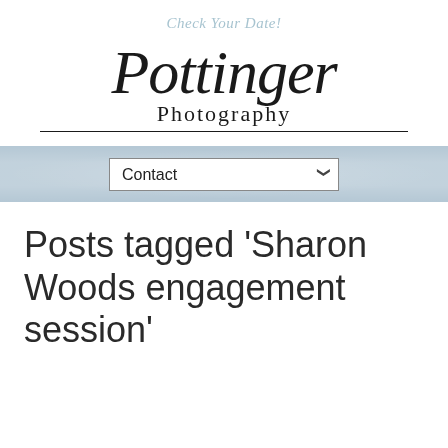Check Your Date!
[Figure (logo): Pottinger Photography logo with script 'Pottinger' text and 'Photography' in serif, underlined by a horizontal rule]
[Figure (screenshot): Navigation bar with blue-grey patterned background containing a 'Contact' dropdown selector]
Posts tagged ‘Sharon Woods engagement session’